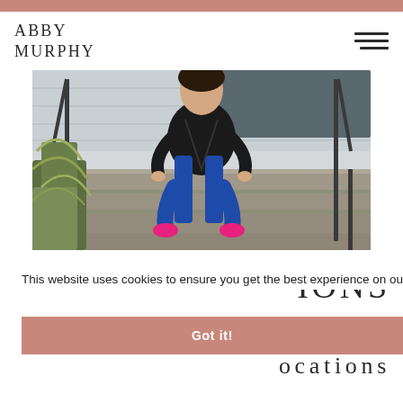ABBY MURPHY
[Figure (photo): Woman in black leather jacket and blue pants with bright pink heels sitting on outdoor brick steps with metal railing and plant visible on left]
IONS
This website uses cookies to ensure you get the best experience on our website. Learn more
Got it!
ocations